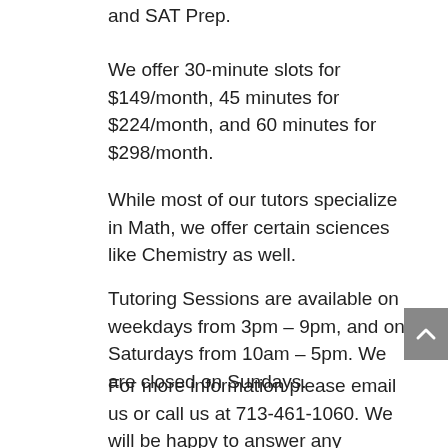and SAT Prep.
We offer 30-minute slots for $149/month, 45 minutes for $224/month, and 60 minutes for $298/month.
While most of our tutors specialize in Math, we offer certain sciences like Chemistry as well.
Tutoring Sessions are available on weekdays from 3pm – 9pm, and on Saturdays from 10am – 5pm. We are closed on Sundays.
For more information please email us or call us at 713-461-1060. We will be happy to answer any questions and/or schedule a weekly time slot.